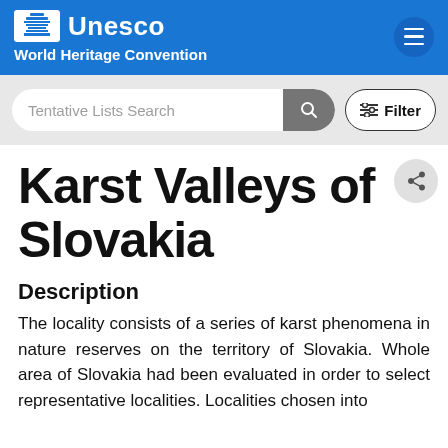Unesco World Heritage Convention
[Figure (screenshot): Search bar with 'Tentative Lists Search' placeholder text, search button, and Filter button]
Karst Valleys of Slovakia
Description
The locality consists of a series of karst phenomena in nature reserves on the territory of Slovakia. Whole area of Slovakia had been evaluated in order to select representative localities. Localities chosen into